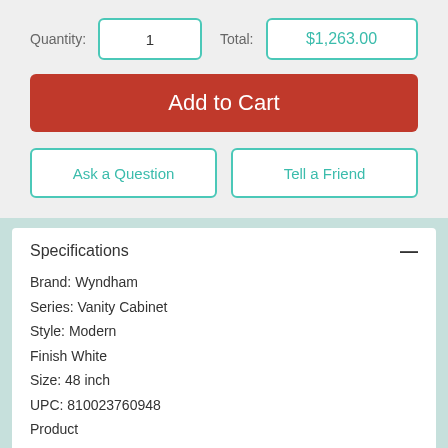Quantity: 1   Total: $1,263.00
Add to Cart
Ask a Question
Tell a Friend
Specifications
Brand: Wyndham
Series: Vanity Cabinet
Style: Modern
Finish White
Size: 48 inch
UPC: 810023760948
Product
Width: 47.25
Length: 21.75
Height: 34.25